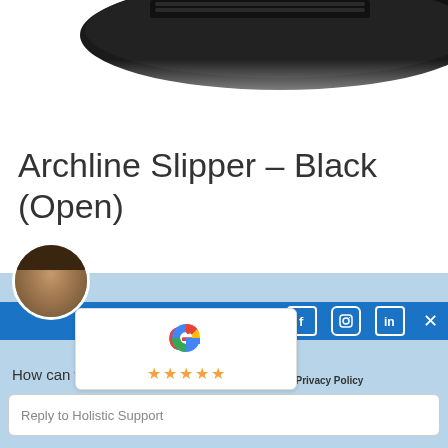[Figure (photo): Partial image of a black Archline slipper shoe cropped at top of page]
Archline Slipper – Black (Open)
$60.00
[Figure (screenshot): Chat widget overlay with avatar, social icons (Facebook, Instagram, LinkedIn), close button, Google review box with stars, help text 'How can we help? We're here for you!', reply input field, and footer copyright text '© 2022 Holistic Foot Clinic | Website ... Media | Privacy Policy']